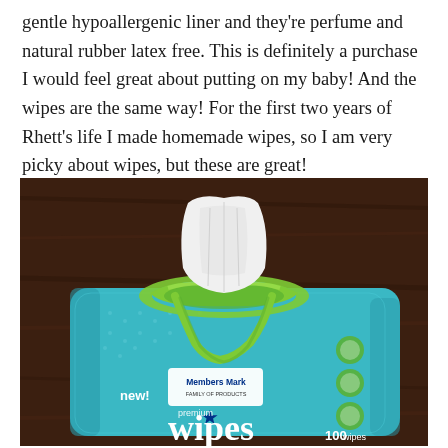gentle hypoallergenic liner and they're perfume and natural rubber latex free. This is definitely a purchase I would feel great about putting on my baby! And the wipes are the same way! For the first two years of Rhett's life I made homemade wipes, so I am very picky about wipes, but these are great!
[Figure (photo): A teal/blue package of Member's Mark Premium Wipes (100 wipes) sitting on a dark wood surface, with a white wipe pulled up through the green flip-top lid opening.]